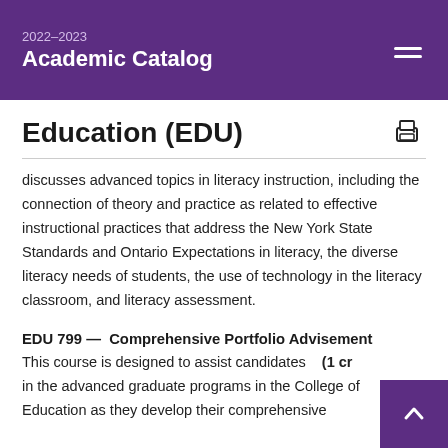2022-2023 Academic Catalog
Education (EDU)
discusses advanced topics in literacy instruction, including the connection of theory and practice as related to effective instructional practices that address the New York State Standards and Ontario Expectations in literacy, the diverse literacy needs of students, the use of technology in the literacy classroom, and literacy assessment.
EDU 799 —  Comprehensive Portfolio Advisement
This course is designed to assist candidates   (1 cr in the advanced graduate programs in the College of Education as they develop their comprehensive